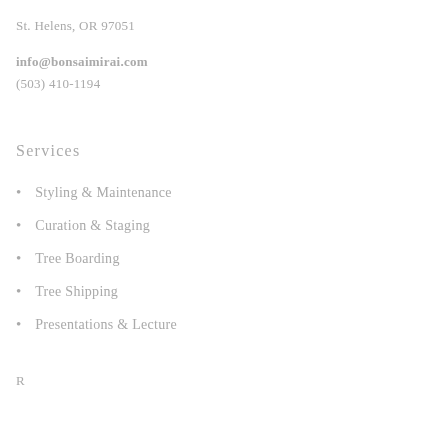St. Helens, OR 97051
info@bonsaimirai.com
(503) 410-1194
Services
Styling & Maintenance
Curation & Staging
Tree Boarding
Tree Shipping
Presentations & Lecture
R